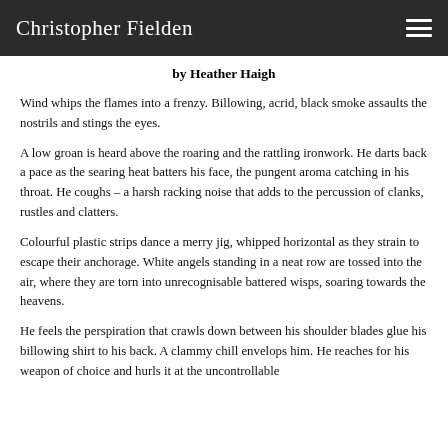Christopher Fielden
by Heather Haigh
Wind whips the flames into a frenzy. Billowing, acrid, black smoke assaults the nostrils and stings the eyes.
A low groan is heard above the roaring and the rattling ironwork. He darts back a pace as the searing heat batters his face, the pungent aroma catching in his throat. He coughs – a harsh racking noise that adds to the percussion of clanks, rustles and clatters.
Colourful plastic strips dance a merry jig, whipped horizontal as they strain to escape their anchorage. White angels standing in a neat row are tossed into the air, where they are torn into unrecognisable battered wisps, soaring towards the heavens.
He feels the perspiration that crawls down between his shoulder blades glue his billowing shirt to his back. A clammy chill envelops him. He reaches for his weapon of choice and hurls it at the uncontrollable